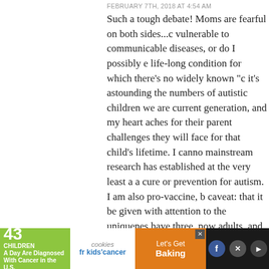FEBRUARY 7TH, 2018 AT 4:54 AM
Such a tough debate! Moms are fearful on both sides...c vulnerable to communicable diseases, or do I possibly e life-long condition for which there's no widely known "c it’s astounding the numbers of autistic children we are current generation, and my heart aches for their parent challenges they will face for that child’s lifetime. I cann mainstream research has established at the very least a a cure or prevention for autism. I am also pro-vaccine, b caveat: that it be given with attention to the uniquenes have three, now adults, and all were vaccinated. One ha reaction to the MMR vaccine at the age of 2 months, an dangerously high fever as a result. This is not uncommo can be quite dangerous for tiny babies, so I just hope w common sense for all children when giving vaccines.
> Reply
Marie says:
FEBRUARY 8TH, 2018 AT 7:07 PM
[Figure (infographic): Ad banner: '43 CHILDREN A Day Are Diagnosed With Cancer in the U.S.' with cookies for kids' cancer logo and 'Let’s Get Baking' call to action on orange background, with social media icons on dark background.]